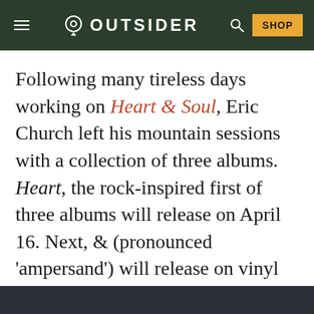OUTSIDER — SHOP
Following many tireless days working on Heart & Soul, Eric Church left his mountain sessions with a collection of three albums. Heart, the rock-inspired first of three albums will release on April 16. Next, & (pronounced 'ampersand') will release on vinyl or can be streamed on April 20. But Eric Church is only offering this second release for members of his official Church Choir fan club. Last, the Muscle Shoals and Motown-inspired Soul will release on April